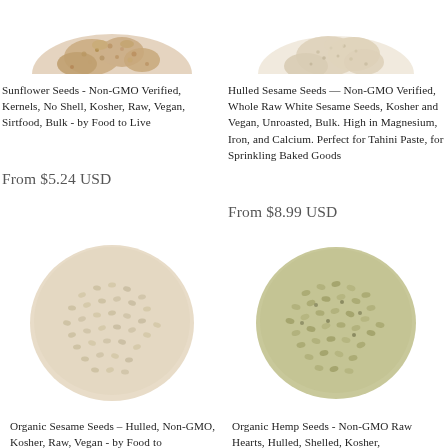[Figure (photo): Sunflower seeds pile, top portion visible, top-left]
[Figure (photo): Hulled sesame seeds pile, top portion visible, top-right]
Sunflower Seeds - Non-GMO Verified, Kernels, No Shell, Kosher, Raw, Vegan, Sirtfood, Bulk - by Food to Live
From $5.24 USD
Hulled Sesame Seeds — Non-GMO Verified, Whole Raw White Sesame Seeds, Kosher and Vegan, Unroasted, Bulk. High in Magnesium, Iron, and Calcium. Perfect for Tahini Paste, for Sprinkling Baked Goods
From $8.99 USD
[Figure (photo): Organic sesame seeds hulled, large pile, bottom-left]
[Figure (photo): Organic hemp seeds raw hearts hulled, large pile, bottom-right]
Organic Sesame Seeds – Hulled, Non-GMO, Kosher, Raw, Vegan - by Food to
Organic Hemp Seeds - Non-GMO Raw Hearts, Hulled, Shelled, Kosher,